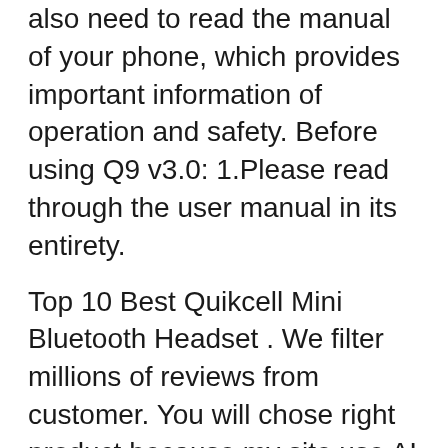also need to read the manual of your phone, which provides important information of operation and safety. Before using Q9 v3.0: 1.Please read through the user manual in its entirety.
Top 10 Best Quikcell Mini Bluetooth Headset . We filter millions of reviews from customer. You will chose right product because my site use AI Technology and Big Data to filter milions products. AFter fumbling around for the N-th time to get my headset connection 'juuuust right' so i could take a call without getting ticketed, i finally decided it was time to try yet another bluetooth headset. Finally decided on one of the colored 'Q7' headsets made by Quikcell.